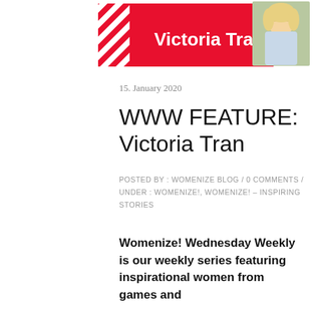[Figure (illustration): Red arrow/banner graphic with text 'Victoria Tran' in white, diagonal stripes on left side, and a photo of a young blonde woman on the right]
15. January 2020
WWW FEATURE: Victoria Tran
POSTED BY : WOMENIZE BLOG / 0 COMMENTS / UNDER : WOMENIZE!, WOMENIZE! - INSPIRING STORIES
Womenize! Wednesday Weekly is our weekly series featuring inspirational women from games and